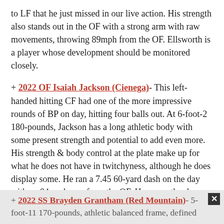to LF that he just missed in our live action. His strength also stands out in the OF with a strong arm with raw movements, throwing 89mph from the OF. Ellsworth is a player whose development should be monitored closely.
+ 2022 OF Isaiah Jackson (Cienega)- This left-handed hitting CF had one of the more impressive rounds of BP on day, hitting four balls out. At 6-foot-2 180-pounds, Jackson has a long athletic body with some present strength and potential to add even more. His strength & body control at the plate make up for what he does not have in twitchyness, although he does display some. He ran a 7.45 60-yard dash on the day with an 84-mph arm from the OF. He currently plays CF in HS but will probably be more suited for a corner OF spot in the future. His left-handed bat with power potential should make for a strong follow.
+ 2022 SS Brayden Grantham (Red Mountain)- 5-foot-11 170-pounds, athletic balanced frame, defined